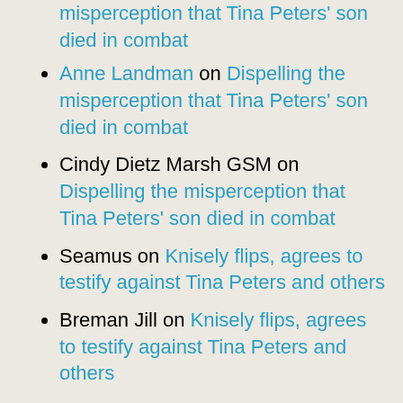misperception that Tina Peters' son died in combat
Anne Landman on Dispelling the misperception that Tina Peters' son died in combat
Cindy Dietz Marsh GSM on Dispelling the misperception that Tina Peters' son died in combat
Seamus on Knisely flips, agrees to testify against Tina Peters and others
Breman Jill on Knisely flips, agrees to testify against Tina Peters and others